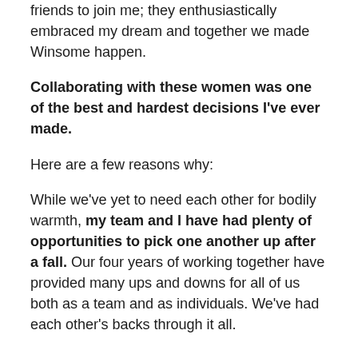friends to join me; they enthusiastically embraced my dream and together we made Winsome happen.
Collaborating with these women was one of the best and hardest decisions I've ever made.
Here are a few reasons why:
While we've yet to need each other for bodily warmth, my team and I have had plenty of opportunities to pick one another up after a fall.  Our four years of working together have provided many ups and downs for all of us both as a team and as individuals. We've had each other's backs through it all.
~~~~~~~~~~~~~~~~~~
Proximity leads to conflict.